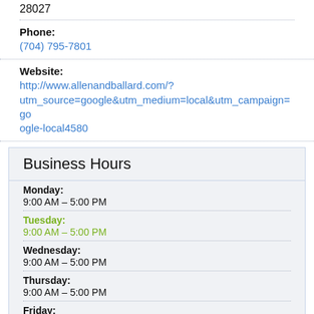28027
Phone:
(704) 795-7801
Website:
http://www.allenandballard.com/?utm_source=google&utm_medium=local&utm_campaign=google-local4580
Business Hours
Monday:
9:00 AM – 5:00 PM
Tuesday:
9:00 AM – 5:00 PM
Wednesday:
9:00 AM – 5:00 PM
Thursday:
9:00 AM – 5:00 PM
Friday:
9:00 AM – 5:00 PM
Saturday: